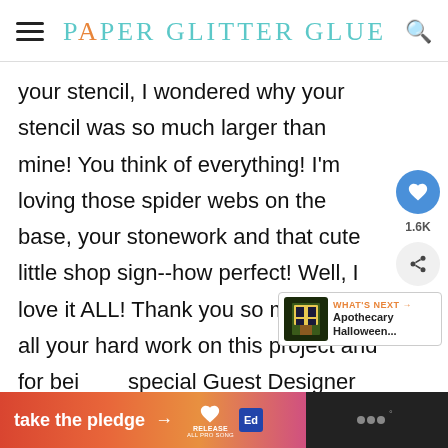Paper Glitter Glue
your stencil, I wondered why your stencil was so much larger than mine! You think of everything! I'm loving those spider webs on the base, your stonework and that cute little shop sign--how perfect! Well, I love it ALL! Thank you so much for all your hard work on this project and for being a special Guest Designer at Frilly and
[Figure (screenshot): What's Next widget showing Apothecary Halloween... article thumbnail]
[Figure (infographic): Bottom ad banner: take the pledge arrow Release Ed logo on orange/pink gradient background]